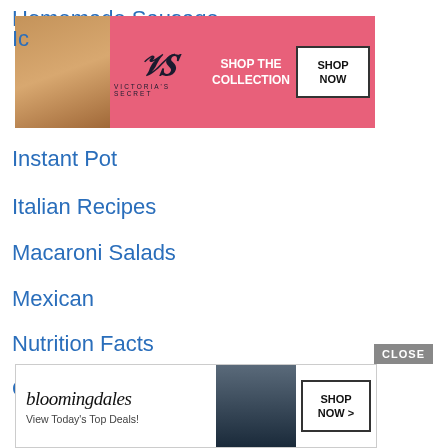Homemade Sausage
[Figure (photo): Victoria's Secret advertisement banner with model]
Ic...
Instant Pot
Italian Recipes
Macaroni Salads
Mexican
Nutrition Facts
Oven-Baked
Pie Recipe's
Pressure Cooker
Sandwiches
seasonal recipes
Si...
Si...
[Figure (photo): Bloomingdale's advertisement banner with model in hat]